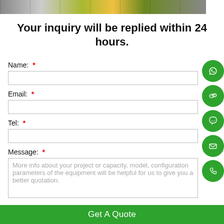[Figure (photo): Strip of industrial/warehouse photos at the top of the page]
Your inquiry will be replied within 24 hours.
Name: *
Email: *
Tel: *
Message: *
More info about your project or capacity, model, configuration parameters of the equipment will be helpful for us to give you a better quotation.
Get A Quote